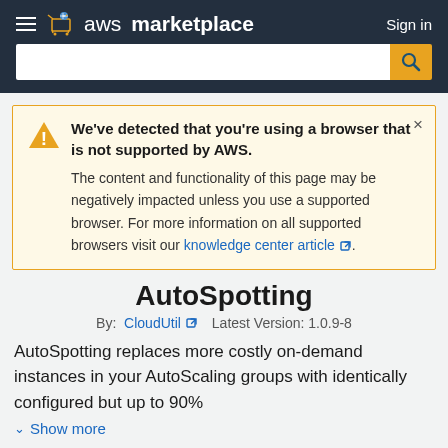aws marketplace  Sign in
We've detected that you're using a browser that is not supported by AWS. The content and functionality of this page may be negatively impacted unless you use a supported browser. For more information on all supported browsers visit our knowledge center article.
AutoSpotting
By: CloudUtil  Latest Version: 1.0.9-8
AutoSpotting replaces more costly on-demand instances in your AutoScaling groups with identically configured but up to 90%
Show more
∨ (truncated)